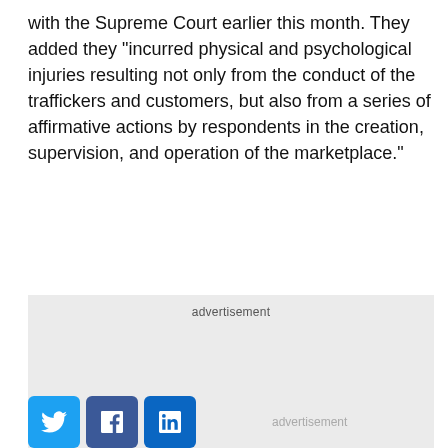with the Supreme Court earlier this month. They added they "incurred physical and psychological injuries resulting not only from the conduct of the traffickers and customers, but also from a series of affirmative actions by respondents in the creation, supervision, and operation of the marketplace."
[Figure (other): Advertisement placeholder box with light gray background and 'advertisement' label at top]
[Figure (other): Social media share buttons: Twitter (blue bird), Facebook (blue f), LinkedIn (blue in), with 'advertisement' label to the right]